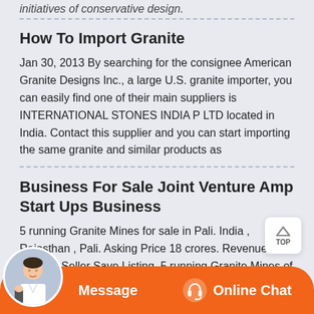initiatives of conservative design.
How To Import Granite
Jan 30, 2013 By searching for the consignee American Granite Designs Inc., a large U.S. granite importer, you can easily find one of their main suppliers is INTERNATIONAL STONES INDIA P LTD located in India. Contact this supplier and you can start importing the same granite and similar products as
Business For Sale Joint Venture Amp Start Ups Business
5 running Granite Mines for sale in Pali. India , Rajasthan , Pali. Asking Price 18 crores. Revenue NA. Contact Seller Save Listing. 5 running Granite Mines of Chima Pink adjoining to each other are available for sale in Pali. The area of each